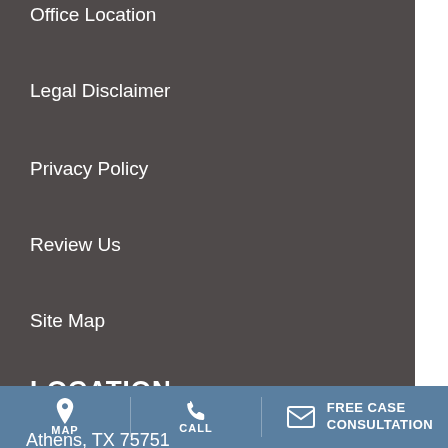Office Location
Legal Disclaimer
Privacy Policy
Review Us
Site Map
LOCATION
Weinstein Law
Athens, TX 75751
Phone: 903-287-2801
MAP  CALL  FREE CASE CONSULTATION